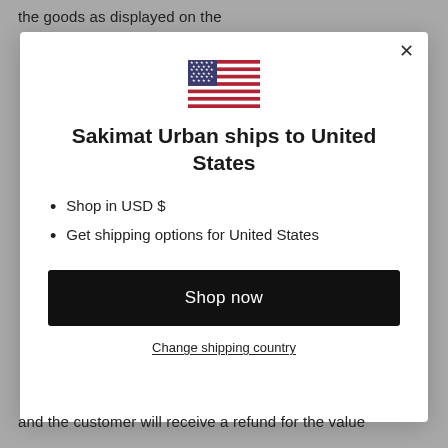the goods as displayed on the
[Figure (illustration): Modal dialog popup showing USA flag, heading 'Sakimat Urban ships to United States', bullet points for shop currency and shipping options, a 'Shop now' button, and a 'Change shipping country' link]
and the customer will receive a refund for the value